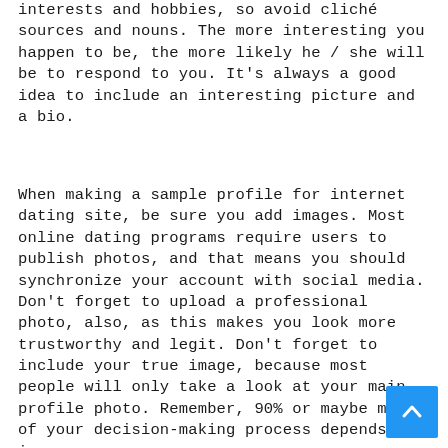interests and hobbies, so avoid cliché sources and nouns. The more interesting you happen to be, the more likely he / she will be to respond to you. It's always a good idea to include an interesting picture and a bio.
When making a sample profile for internet dating site, be sure you add images. Most online dating programs require users to publish photos, and that means you should synchronize your account with social media. Don't forget to upload a professional photo, also, as this makes you look more trustworthy and legit. Don't forget to include your true image, because most people will only take a look at your main profile photo. Remember, 90% or maybe more of your decision-making process depends on images.